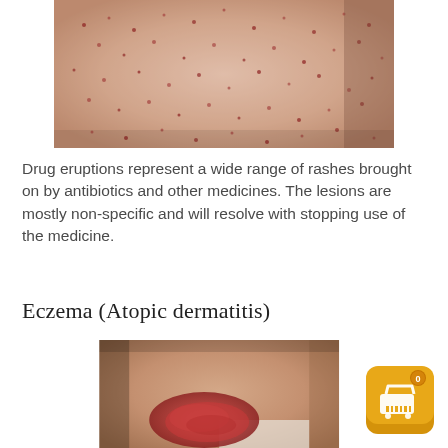[Figure (photo): Close-up photo of skin showing multiple small red/pink spots scattered across light skin — drug eruption rash on back]
Drug eruptions represent a wide range of rashes brought on by antibiotics and other medicines. The lesions are mostly non-specific and will resolve with stopping use of the medicine.
Eczema (Atopic dermatitis)
[Figure (photo): Photo of the inner elbow area showing reddened, inflamed, raised skin — atopic dermatitis (eczema) rash]
[Figure (other): Shopping cart app icon with badge showing 0]